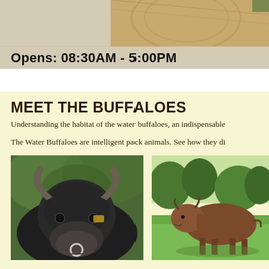[Figure (photo): Wooden structure or ceiling visible in upper right area, beige background on upper left]
Opens: 08:30AM - 5:00PM
MEET THE BUFFALOES
Understanding the habitat of the water buffaloes, an indispensable...
The Water Buffaloes are intelligent pack animals. See how they di...
[Figure (photo): Close-up photo of a water buffalo face with horns and nose ring, green foliage background]
[Figure (photo): Full body photo of a brown water buffalo standing on green grass with trees in background]